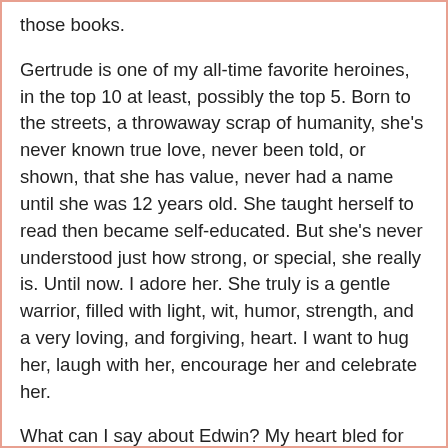those books.
Gertrude is one of my all-time favorite heroines, in the top 10 at least, possibly the top 5. Born to the streets, a throwaway scrap of humanity, she's never known true love, never been told, or shown, that she has value, never had a name until she was 12 years old. She taught herself to read then became self-educated. But she's never understood just how strong, or special, she really is. Until now. I adore her. She truly is a gentle warrior, filled with light, wit, humor, strength, and a very loving, and forgiving, heart. I want to hug her, laugh with her, encourage her and celebrate her.
What can I say about Edwin? My heart bled for what he's been through. He could have easily become an unlikable, irredeemable villain, closed off from the world, filled with cruelty, and bent on revenge.